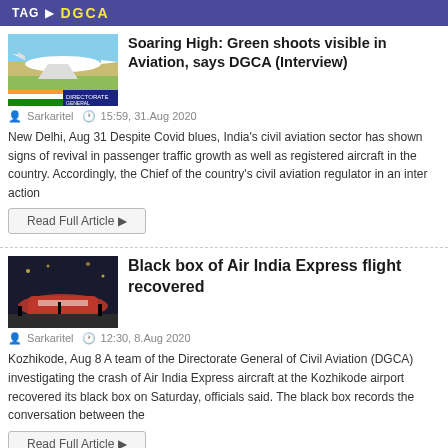TAG   DGCA
Soaring High: Green shoots visible in Aviation, says DGCA (Interview)
Sarkaritel   15:59, 31.Aug 2020
New Delhi, Aug 31 Despite Covid blues, India's civil aviation sector has shown signs of revival in passenger traffic growth as well as registered aircraft in the country. Accordingly, the Chief of the country's civil aviation regulator in an inter action
Read Full Article ▶
Black box of Air India Express flight recovered
Sarkaritel   12:30, 8.Aug 2020
Kozhikode, Aug 8 A team of the Directorate General of Civil Aviation (DGCA) investigating the crash of Air India Express aircraft at the Kozhikode airport recovered its black box on Saturday, officials said. The black box records the conversation between the
Read Full Article ▶
Kuwait approves Indian repatriation